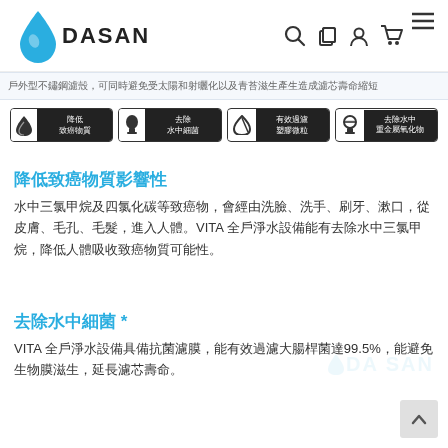DASAN
戶外型不鏽鋼濾殼，可同時避免受太陽和射曬化以及青苔滋生產生造成濾芯壽命縮短
[Figure (infographic): Four feature badges: 降低致癌物質, 去除水中細菌, 有效過濾塑膠微粒, 去除水中重金屬氧化物]
降低致癌物質影響性
水中三氯甲烷及四氯化碳等致癌物，會經由洗臉、洗手、刷牙、漱口，從皮膚、毛孔、毛髮，進入人體。VITA 全戶淨水設備能有去除水中三氯甲烷，降低人體吸收致癌物質可能性。
去除水中細菌 *
VITA 全戶淨水設備具備抗菌濾膜，能有效過濾大腸桿菌達99.5%，能避免生物膜滋生，延長濾芯壽命。